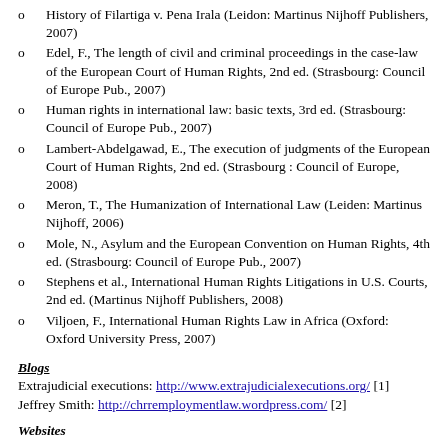History of Filartiga v. Pena Irala (Leidon: Martinus Nijhoff Publishers, 2007)
Edel, F., The length of civil and criminal proceedings in the case-law of the European Court of Human Rights, 2nd ed. (Strasbourg: Council of Europe Pub., 2007)
Human rights in international law: basic texts, 3rd ed. (Strasbourg: Council of Europe Pub., 2007)
Lambert-Abdelgawad, E., The execution of judgments of the European Court of Human Rights, 2nd ed. (Strasbourg : Council of Europe, 2008)
Meron, T., The Humanization of International Law (Leiden: Martinus Nijhoff, 2006)
Mole, N., Asylum and the European Convention on Human Rights, 4th ed. (Strasbourg: Council of Europe Pub., 2007)
Stephens et al., International Human Rights Litigations in U.S. Courts, 2nd ed. (Martinus Nijhoff Publishers, 2008)
Viljoen, F., International Human Rights Law in Africa (Oxford: Oxford University Press, 2007)
Blogs
Extrajudicial executions: http://www.extrajudicialexecutions.org/ [1]
Jeffrey Smith: http://chrremploymentlaw.wordpress.com/ [2]
Websites